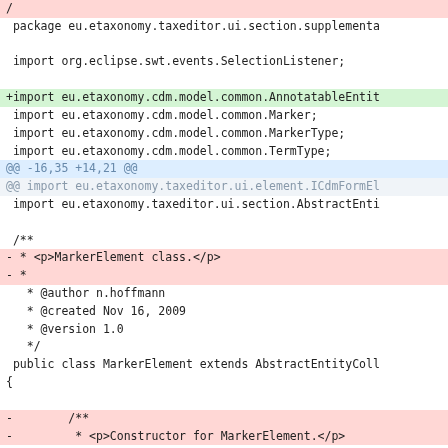code diff showing Java file changes including package, imports, class javadoc, and class declaration
[Figure (screenshot): A code diff view showing Java source file changes. Lines are color-coded: pink/red for deletions, green for additions, blue/gray for hunk headers. The diff shows package declaration, imports for SelectionListener, AnnotatableEntity, Marker, MarkerType, TermType, hunk headers, AbstractEntityCollection import, Javadoc comment modifications, and class declaration.]